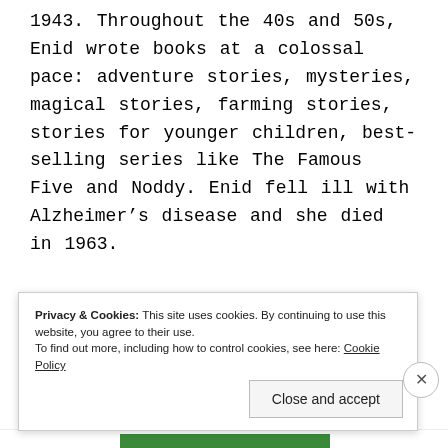1943. Throughout the 40s and 50s, Enid wrote books at a colossal pace: adventure stories, mysteries, magical stories, farming stories, stories for younger children, best-selling series like The Famous Five and Noddy. Enid fell ill with Alzheimer's disease and she died in 1963.
Her spirit lives on in her books and she
Privacy & Cookies: This site uses cookies. By continuing to use this website, you agree to their use. To find out more, including how to control cookies, see here: Cookie Policy
Close and accept
Advertisements